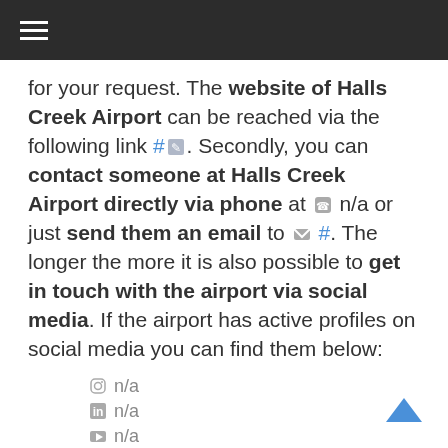≡ (hamburger menu icon)
for your request. The website of Halls Creek Airport can be reached via the following link #. Secondly, you can contact someone at Halls Creek Airport directly via phone at n/a or just send them an email to #. The longer the more it is also possible to get in touch with the airport via social media. If the airport has active profiles on social media you can find them below:
n/a (Instagram)
n/a (LinkedIn)
n/a (Twitter)
n/a (Facebook)
n/a (Wikipedia/W)
n/a (YouTube)